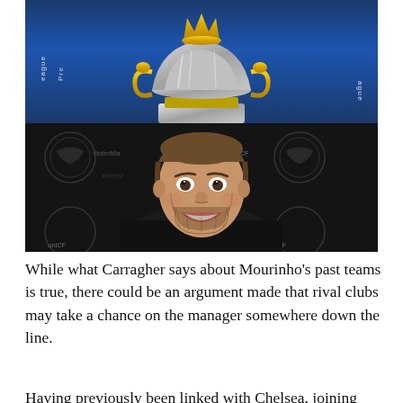[Figure (photo): Two stacked photos: top shows the Premier League trophy (gold and silver) against a blue background with 'league' branding text on both sides; bottom shows a smiling man (David Beckham) wearing a black hoodie at an Inter Miami CF press backdrop.]
While what Carragher says about Mourinho's past teams is true, there could be an argument made that rival clubs may take a chance on the manager somewhere down the line.
Having previously been linked with Chelsea, joining Sam...